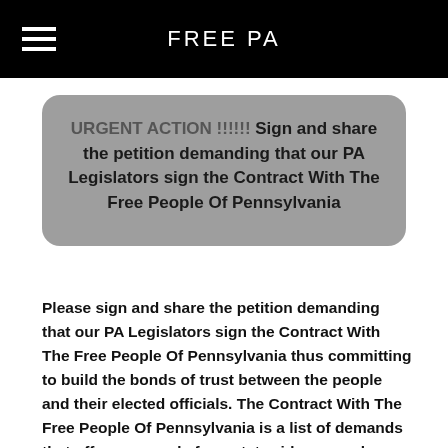FREE PA
URGENT ACTION !!!!!! Sign and share the petition demanding that our PA Legislators sign the Contract With The Free People Of Pennsylvania
Please sign and share the petition demanding that our PA Legislators sign the Contract With The Free People Of Pennsylvania thus committing to build the bonds of trust between the people and their elected officials. The Contract With The Free People Of Pennsylvania is a list of demands that offer an agenda for a statewide renewal, a written commitment that is aimed at restoring and repairing the faith and trust of the people of Pennsylvania with their